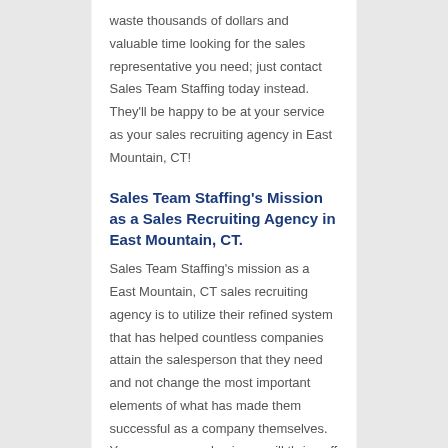waste thousands of dollars and valuable time looking for the sales representative you need; just contact Sales Team Staffing today instead. They'll be happy to be at your service as your sales recruiting agency in East Mountain, CT!
Sales Team Staffing's Mission as a Sales Recruiting Agency in East Mountain, CT.
Sales Team Staffing's mission as a East Mountain, CT sales recruiting agency is to utilize their refined system that has helped countless companies attain the salesperson that they need and not change the most important elements of what has made them successful as a company themselves. Your company or business will thrive off the Sales Representative that Sales Team